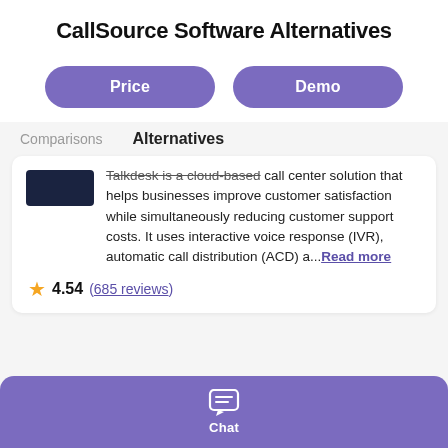CallSource Software Alternatives
Price
Demo
Alternatives
Comparisons
Talkdesk is a cloud-based call center solution that helps businesses improve customer satisfaction while simultaneously reducing customer support costs. It uses interactive voice response (IVR), automatic call distribution (ACD) a...Read more
4.54 (685 reviews)
Chat